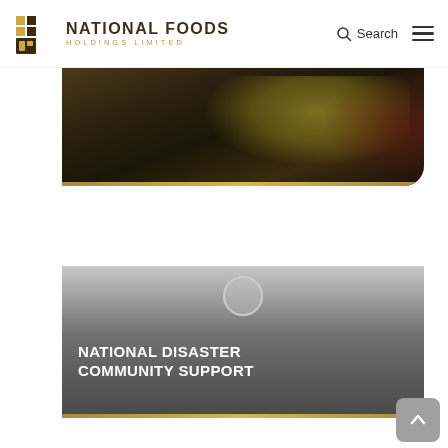National Foods Holdings Limited — Search navigation
[Figure (photo): Dark photo strip showing people in yellow/green jackets, partially visible]
[Figure (photo): Gray gradient card with play button circle and white bold text reading NATIONAL DISASTER COMMUNITY SUPPORT]